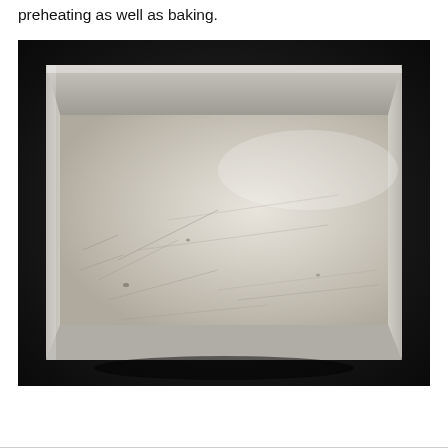preheating as well as baking.
[Figure (photo): Overhead view of a well-used square aluminum baking pan with scratches on the interior surface, photographed against a dark/black background.]